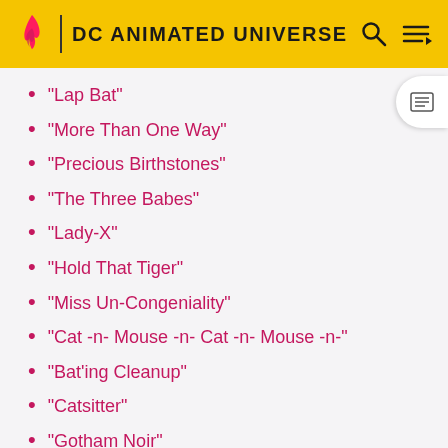DC ANIMATED UNIVERSE
"Lap Bat"
"More Than One Way"
"Precious Birthstones"
"The Three Babes"
"Lady-X"
"Hold That Tiger"
"Miss Un-Congeniality"
"Cat -n- Mouse -n- Cat -n- Mouse -n-"
"Bat'ing Cleanup"
"Catsitter"
"Gotham Noir"
"Ms.-ing in Action"
"Gotham in Pink"
"Gotham in Blue"